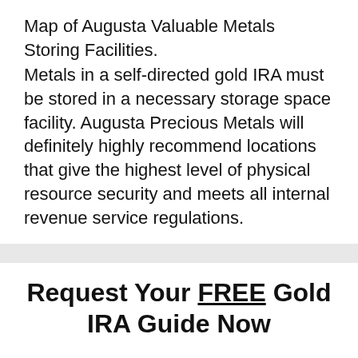Map of Augusta Valuable Metals Storing Facilities.
Metals in a self-directed gold IRA must be stored in a necessary storage space facility. Augusta Precious Metals will definitely highly recommend locations that give the highest level of physical resource security and meets all internal revenue service regulations.
Request Your FREE Gold IRA Guide Now
And Discover How Easy It Is To Protect & Secure Your